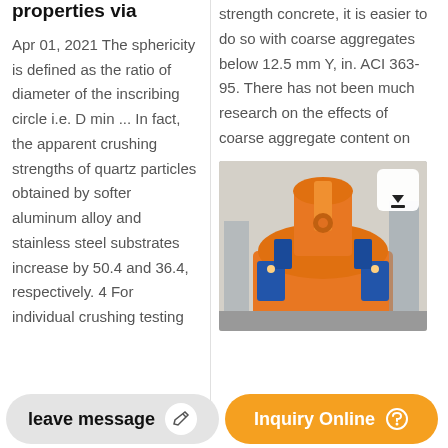properties via
Apr 01, 2021 The sphericity is defined as the ratio of diameter of the inscribing circle i.e. D min ... In fact, the apparent crushing strengths of quartz particles obtained by softer aluminum alloy and stainless steel substrates increase by 50.4 and 36.4, respectively. 4 For individual crushing testing
strength concrete, it is easier to do so with coarse aggregates below 12.5 mm Y, in. ACI 363-95. There has not been much research on the effects of coarse aggregate content on
[Figure (photo): Industrial machinery photograph showing orange and blue heavy equipment, possibly a crusher or mill, in a factory setting. An upload button icon appears in the top right corner of the image.]
leave message
Inquiry Online